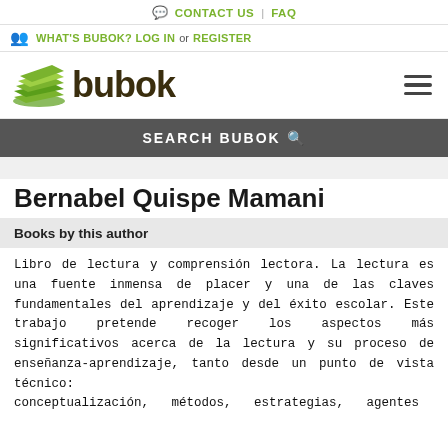CONTACT US | FAQ
WHAT'S BUBOK? LOG IN or REGISTER
[Figure (logo): Bubok logo with green stacked books icon and bold dark brown 'bubok' text]
SEARCH BUBOK
Bernabel Quispe Mamani
Books by this author
Libro de lectura y comprensión lectora. La lectura es una fuente inmensa de placer y una de las claves fundamentales del aprendizaje y del éxito escolar. Este trabajo pretende recoger los aspectos más significativos acerca de la lectura y su proceso de enseñanza-aprendizaje, tanto desde un punto de vista técnico: conceptualización, métodos, estrategias, agentes